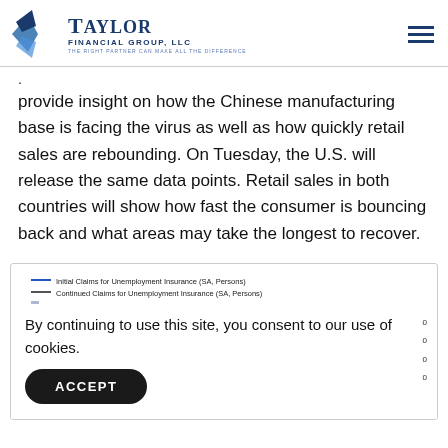Taylor Financial Group, LLC — The right partner can make all the difference
provide insight on how the Chinese manufacturing base is facing the virus as well as how quickly retail sales are rebounding. On Tuesday, the U.S. will release the same data points. Retail sales in both countries will show how fast the consumer is bouncing back and what areas may take the longest to recover.
[Figure (other): Chart showing Initial Claims for Unemployment Insurance (SA, Persons), Continued Claims for Unemployment Insurance (SA, Persons), and Recession Periods - United States. Value label 26,000,000 visible. Partially obscured by cookie consent overlay.]
By continuing to use this site, you consent to our use of cookies.